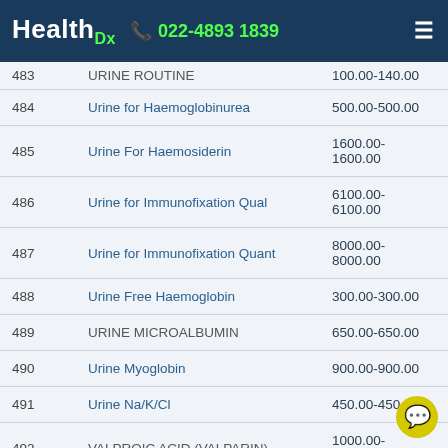HealthDx  022-4893 1839
| # | Test Name | Price |
| --- | --- | --- |
| 483 | URINE ROUTINE | 100.00-140.00 |
| 484 | Urine for Haemoglobinurea | 500.00-500.00 |
| 485 | Urine For Haemosiderin | 1600.00-1600.00 |
| 486 | Urine for Immunofixation Qual | 6100.00-6100.00 |
| 487 | Urine for Immunofixation Quant | 8000.00-8000.00 |
| 488 | Urine Free Haemoglobin | 300.00-300.00 |
| 489 | URINE MICROALBUMIN | 650.00-650.00 |
| 490 | Urine Myoglobin | 900.00-900.00 |
| 491 | Urine Na/K/Cl | 450.00-450.00 |
| 492 | VALPROIC ACID (VALPARIN) | 1000.00-1000.00 |